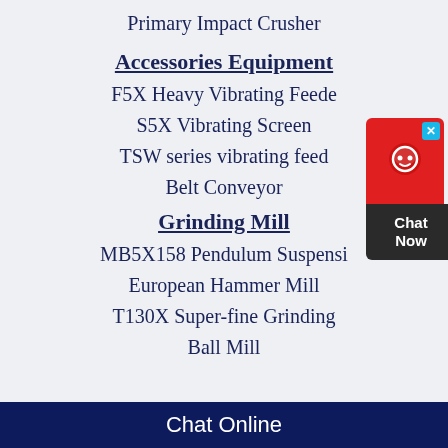Primary Impact Crusher
Accessories Equipment
F5X Heavy Vibrating Feede
S5X Vibrating Screen
TSW series vibrating feed
Belt Conveyor
Grinding Mill
MB5X158 Pendulum Suspensi
European Hammer Mill
T130X Super-fine Grinding
Ball Mill
Chat Online